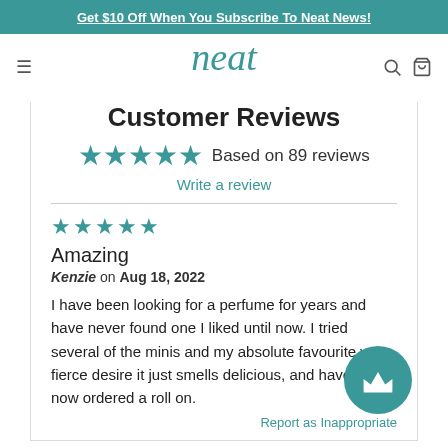Get $10 Off When You Subscribe To Neat News!
[Figure (logo): Neat brand logo in teal italic script font]
Customer Reviews
★★★★★ Based on 89 reviews
Write a review
★★★★★
Amazing
Kenzie on Aug 18, 2022
I have been looking for a perfume for years and have never found one I liked until now. I tried several of the minis and my absolute favourite was fierce desire it just smells delicious, and have just now ordered a roll on.
Report as Inappropriate